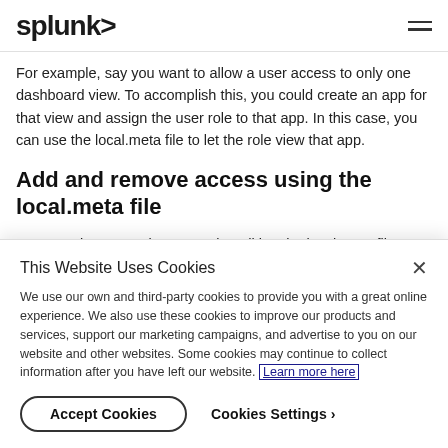splunk>
For example, say you want to allow a user access to only one dashboard view. To accomplish this, you could create an app for that view and assign the user role to that app. In this case, you can use the local.meta file to let the role view that app.
Add and remove access using the local.meta file
You can give or restrict access by editing the local.meta file to add the new role wherever you want it. This action is not possible on
This Website Uses Cookies
We use our own and third-party cookies to provide you with a great online experience. We also use these cookies to improve our products and services, support our marketing campaigns, and advertise to you on our website and other websites. Some cookies may continue to collect information after you have left our website. Learn more here
Accept Cookies   Cookies Settings ›